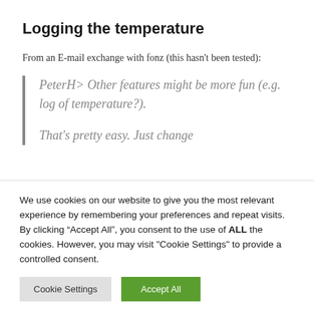Logging the temperature
From an E-mail exchange with fonz (this hasn't been tested):
PeterH> Other features might be more fun (e.g. log of temperature?).

That's pretty easy. Just change
We use cookies on our website to give you the most relevant experience by remembering your preferences and repeat visits. By clicking “Accept All”, you consent to the use of ALL the cookies. However, you may visit "Cookie Settings" to provide a controlled consent.